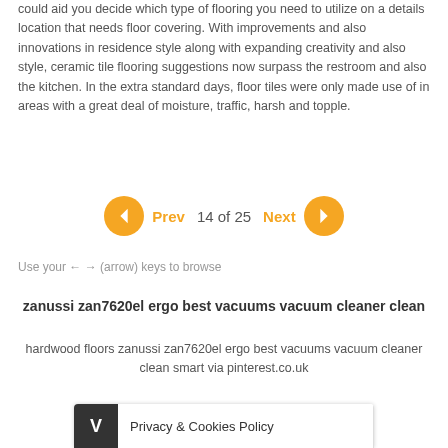could aid you decide which type of flooring you need to utilize on a details location that needs floor covering. With improvements and also innovations in residence style along with expanding creativity and also style, ceramic tile flooring suggestions now surpass the restroom and also the kitchen. In the extra standard days, floor tiles were only made use of in areas with a great deal of moisture, traffic, harsh and topple.
[Figure (infographic): Pagination controls with orange left arrow button, Prev label, '14 of 25', Next label, and orange right arrow button]
Use your ← → (arrow) keys to browse
zanussi zan7620el ergo best vacuums vacuum cleaner clean
hardwood floors zanussi zan7620el ergo best vacuums vacuum cleaner clean smart via pinterest.co.uk
[Figure (screenshot): Privacy & Cookies Policy bar with dark V icon on left]